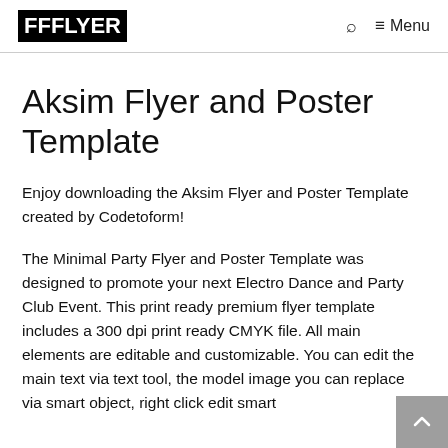FFFLYER   🔍   ≡ Menu
Aksim Flyer and Poster Template
Enjoy downloading the Aksim Flyer and Poster Template created by Codetoform!
The Minimal Party Flyer and Poster Template was designed to promote your next Electro Dance and Party Club Event. This print ready premium flyer template includes a 300 dpi print ready CMYK file. All main elements are editable and customizable. You can edit the main text via text tool, the model image you can replace via smart object, right click edit smart